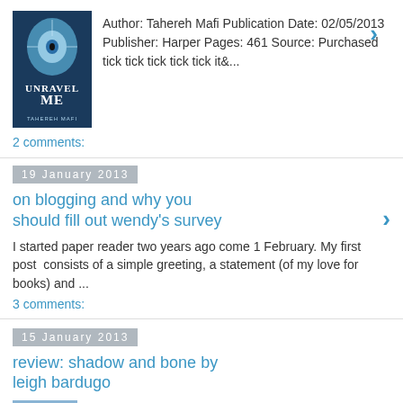[Figure (photo): Book cover of Unravel Me by Tahereh Mafi]
Author: Tahereh Mafi Publication Date: 02/05/2013 Publisher: Harper Pages: 461 Source: Purchased tick tick tick tick tick it&...
2 comments:
19 January 2013
on blogging and why you should fill out wendy's survey
I started paper reader two years ago come 1 February. My first post  consists of a simple greeting, a statement (of my love for books) and ...
3 comments:
15 January 2013
review: shadow and bone by leigh bardugo
[Figure (photo): Book cover of Shadow and Bone by Leigh Bardugo]
Author: Leigh Bardugo Publication Date: